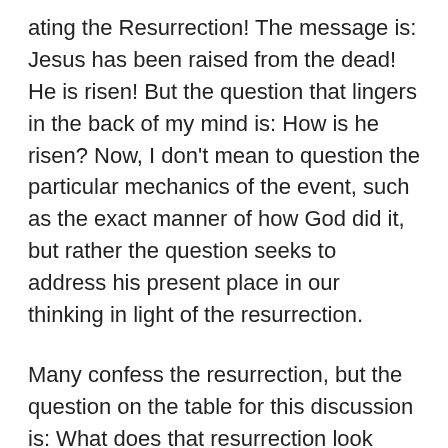ating the Resurrection! The message is: Jesus has been raised from the dead! He is risen! But the question that lingers in the back of my mind is: How is he risen? Now, I don't mean to question the particular mechanics of the event, such as the exact manner of how God did it, but rather the question seeks to address his present place in our thinking in light of the resurrection.
Many confess the resurrection, but the question on the table for this discussion is: What does that resurrection look like? Allow me to explain! There are many people who will acknowledge the resurrection, but they think of Jesus as merely a historical figure who was raised from the dead who has no bearing on their present everyday lives. To them, the resurrection is merely a